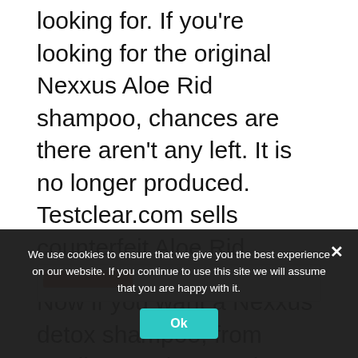looking for. If you're looking for the original Nexxus Aloe Rid shampoo, chances are there aren't any left. It is no longer produced. Testclear.com sells counterfeit Aloe Rid.
Now if you want a Nexxus detox shampoo, from retailers such as Walmart and Amazon. It has a good distribution. This is not genuine Aloe Rid shampoo containing propylene glycol. It's a brand-new formula.
[Figure (screenshot): Partial view of a boxed UI element with a red bar inside, partially visible at bottom of page content area]
We use cookies to ensure that we give you the best experience on our website. If you continue to use this site we will assume that you are happy with it.